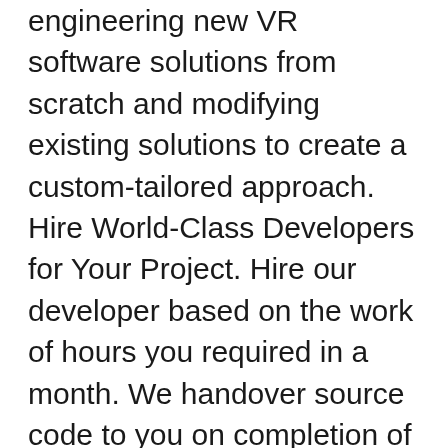engineering new VR software solutions from scratch and modifying existing solutions to create a custom-tailored approach. Hire World-Class Developers for Your Project. Hire our developer based on the work of hours you required in a month. We handover source code to you on completion of the project. After talking with Akul, I learned everyone goes through that. Arc helps you find top . Home > AR/VR App Development. We carry transparency throughout the project, from start to finish. It's simple – you have to hire a virtual reality developer. We have 3 unique hiring models designed